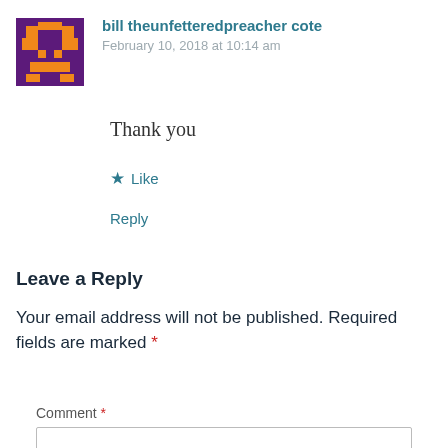[Figure (illustration): Pixel avatar icon with purple background and orange pixel face/character design]
bill theunfetteredpreacher cote
February 10, 2018 at 10:14 am
Thank you
★ Like
Reply
Leave a Reply
Your email address will not be published. Required fields are marked *
Comment *